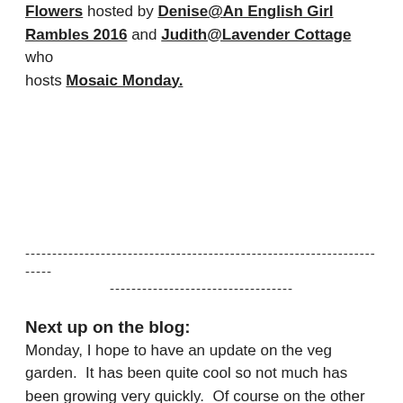Flowers hosted by Denise@An English Girl Rambles 2016 and Judith@Lavender Cottage who hosts Mosaic Monday.
----------------------------------------------------------------------
----------------------------------
Next up on the blog:
Monday, I hope to have an update on the veg garden.  It has been quite cool so not much has been growing very quickly.  Of course on the other hand I may do a wildflower profile!
[Figure (other): Small broken/placeholder image icon with a white/light grey rectangle background]